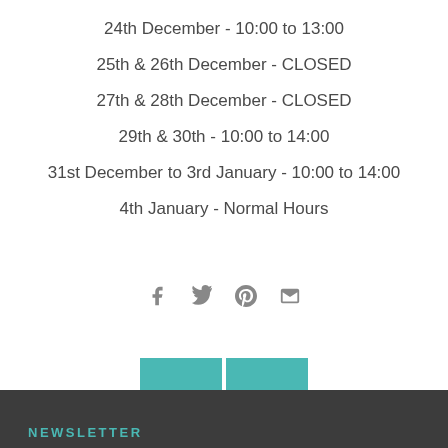24th December - 10:00 to 13:00
25th & 26th December - CLOSED
27th & 28th December - CLOSED
29th & 30th - 10:00 to 14:00
31st December to 3rd January - 10:00 to 14:00
4th January - Normal Hours
[Figure (infographic): Social sharing icons: Facebook, Twitter, Pinterest, Email]
[Figure (infographic): Navigation buttons: left arrow and right arrow in teal]
NEWSLETTER